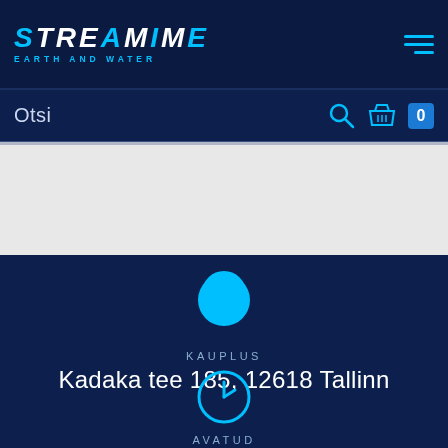[Figure (logo): Streetime Earth and Water logo with cyan and white text on dark navy header]
[Figure (other): Hamburger menu icon with three cyan horizontal lines]
Otsi
[Figure (other): Search icon (magnifying glass) in cyan]
[Figure (other): Shopping basket icon in cyan with 0 badge]
[Figure (other): Map/content area - light gray rectangle]
[Figure (other): Cyan map pin / location marker icon]
KAUPLUS
Kadaka tee 185, 12618 Tallinn
[Figure (other): Cyan clock icon]
AVATUD